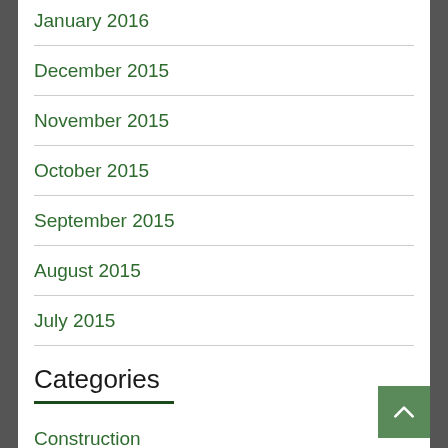January 2016
December 2015
November 2015
October 2015
September 2015
August 2015
July 2015
Categories
Construction
Country Life
Food
Garden